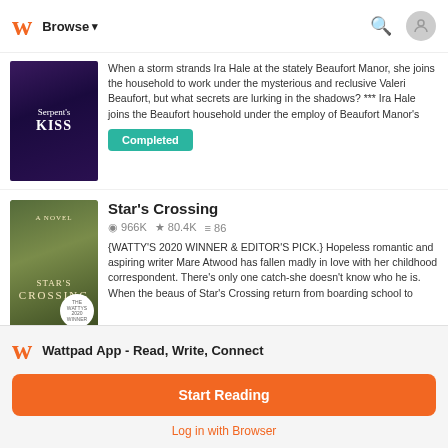Browse
When a storm strands Ira Hale at the stately Beaufort Manor, she joins the household to work under the mysterious and reclusive Valeri Beaufort, but what secrets are lurking in the shadows? *** Ira Hale joins the Beaufort household under the employ of Beaufort Manor's
Completed
Star's Crossing
966K  80.4K  86
{WATTY'S 2020 WINNER & EDITOR'S PICK.} Hopeless romantic and aspiring writer Mare Atwood has fallen madly in love with her childhood correspondent. There's only one catch-she doesn't know who he is. When the beaus of Star's Crossing return from boarding school to
Wattpad App - Read, Write, Connect
Start Reading
Log in with Browser